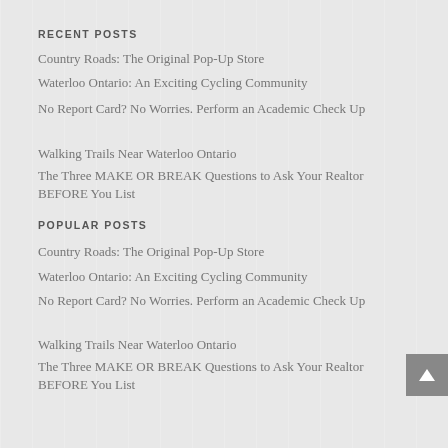RECENT POSTS
Country Roads: The Original Pop-Up Store
Waterloo Ontario: An Exciting Cycling Community
No Report Card? No Worries. Perform an Academic Check Up
Walking Trails Near Waterloo Ontario
The Three MAKE OR BREAK Questions to Ask Your Realtor BEFORE You List
POPULAR POSTS
Country Roads: The Original Pop-Up Store
Waterloo Ontario: An Exciting Cycling Community
No Report Card? No Worries. Perform an Academic Check Up
Walking Trails Near Waterloo Ontario
The Three MAKE OR BREAK Questions to Ask Your Realtor BEFORE You List